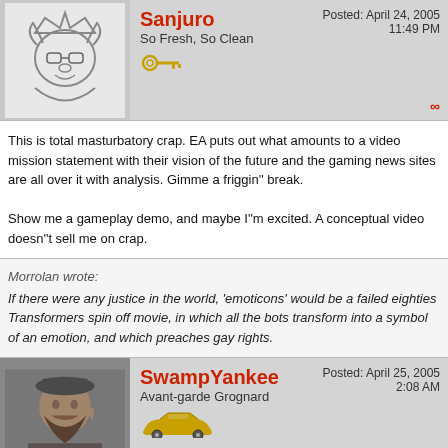Sanjuro | So Fresh, So Clean | Posted: April 24, 2005 11:49 PM
This is total masturbatory crap. EA puts out what amounts to a video mission statement with their vision of the future and the gaming news sites are all over it with analysis. Gimme a friggin'' break.

Show me a gameplay demo, and maybe I''m excited. A conceptual video doesn''t sell me on crap.
Morrolan wrote:
If there were any justice in the world, 'emoticons' would be a failed eighties Transformers spin off movie, in which all the bots transform into a symbol of an emotion, and which preaches gay rights.
SwampYankee | Avant-garde Grognard | Posted: April 25, 2005 2:08 AM
"Prederick" wrote:
"SwampYankee" wrote:
"Prederick" wrote: